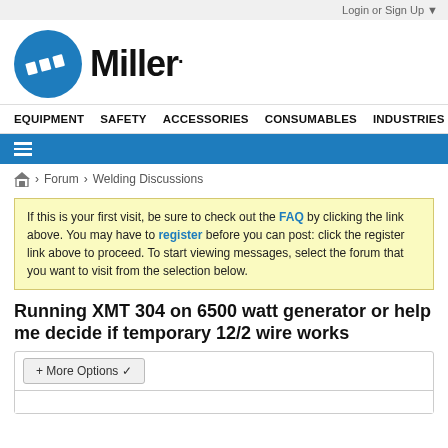Login or Sign Up ▼
[Figure (logo): Miller Electric logo: blue circle with white slanted stripes and 'Miller.' wordmark in black bold text]
EQUIPMENT   SAFETY   ACCESSORIES   CONSUMABLES   INDUSTRIES
≡ (hamburger menu on blue bar)
🏠 > Forum > Welding Discussions
If this is your first visit, be sure to check out the FAQ by clicking the link above. You may have to register before you can post: click the register link above to proceed. To start viewing messages, select the forum that you want to visit from the selection below.
Running XMT 304 on 6500 watt generator or help me decide if temporary 12/2 wire works
+ More Options ✓